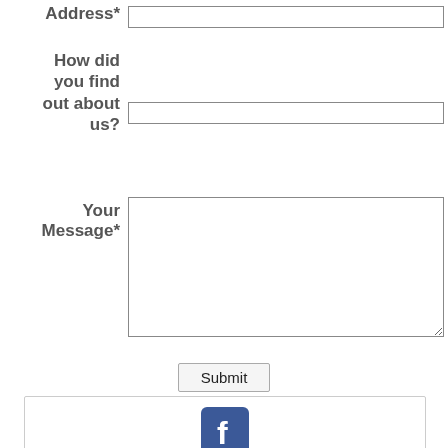Address*
How did you find out about us?
Your Message*
Submit
[Figure (logo): Facebook icon (blue square with white f) and Facebook label in blue, followed by Twitter bird icon in blue square]
Facebook